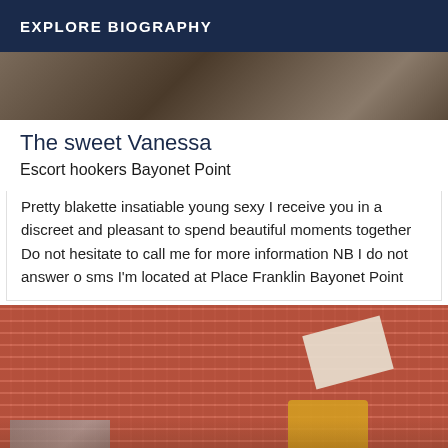EXPLORE BIOGRAPHY
[Figure (photo): Partial photo of a person, cropped at top]
The sweet Vanessa
Escort hookers Bayonet Point
Pretty blakette insatiable young sexy I receive you in a discreet and pleasant to spend beautiful moments together Do not hesitate to call me for more information NB I do not answer o sms I'm located at Place Franklin Bayonet Point
[Figure (photo): Photo showing a tiled red ceiling with a person in yellow clothing visible below, and a paper/document visible in the frame]